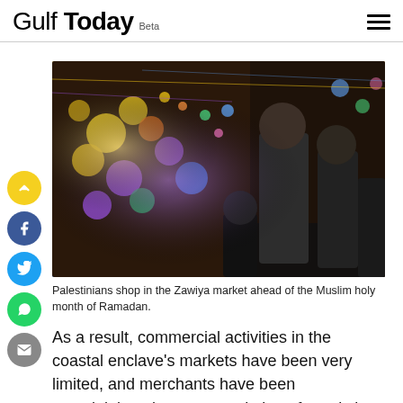Gulf Today Beta
[Figure (photo): Palestinians shopping in a colorful market (Zawiya market) decorated with balloons and lights, ahead of Ramadan. People including men and children visible among vibrant decorations.]
Palestinians shop in the Zawiya market ahead of the Muslim holy month of Ramadan.
As a result, commercial activities in the coastal enclave's markets have been very limited, and merchants have been complaining about accumulation of goods in their warehouses.